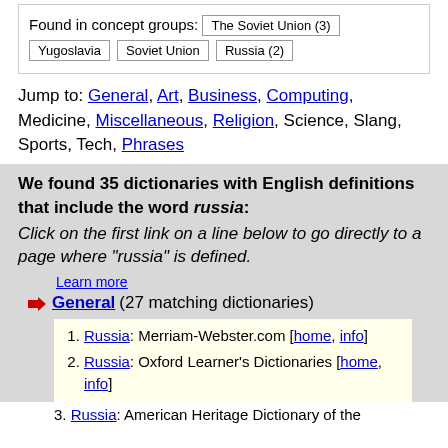Found in concept groups: The Soviet Union (3) Yugoslavia Soviet Union Russia (2)
Jump to: General, Art, Business, Computing, Medicine, Miscellaneous, Religion, Science, Slang, Sports, Tech, Phrases
We found 35 dictionaries with English definitions that include the word russia: Click on the first link on a line below to go directly to a page where "russia" is defined.
Learn more
General (27 matching dictionaries)
1. Russia: Merriam-Webster.com [home, info]
2. Russia: Oxford Learner's Dictionaries [home, info]
3. Russia: American Heritage Dictionary of the